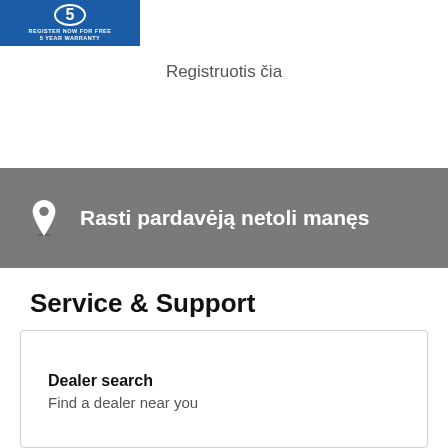[Figure (logo): Blue box logo with number 5 in circle, text 'REGISTER NOW FOR FREE 5 YEAR WARRANTY']
Registruotis čia
Rasti pardavėją netoli manęs
Service & Support
Dealer search
Find a dealer near you